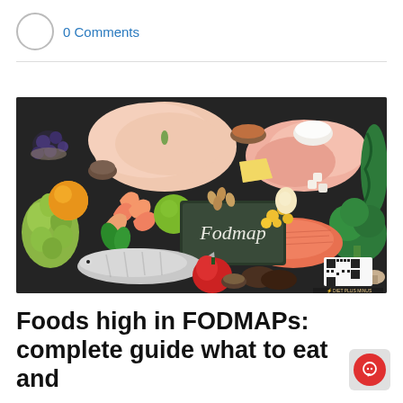0 Comments
[Figure (photo): Flatlay of various foods on a dark background including chicken breast, salmon, shrimp, fish, vegetables (broccoli, grapes, orange), nuts, seeds, dairy, and a chalkboard sign reading 'Fodmap'. Watermark: DIET PLUS MINUS.]
Foods high in FODMAPs: complete guide what to eat and